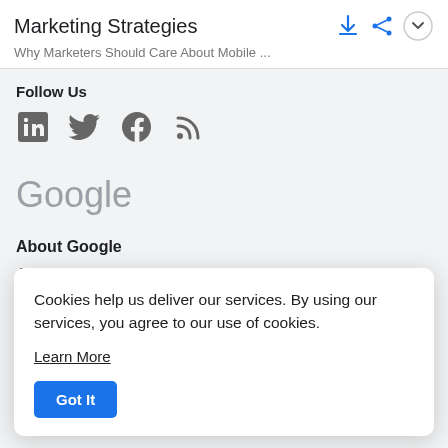Marketing Strategies
Why Marketers Should Care About Mobile ...
Follow Us
[Figure (other): Social media icons: LinkedIn, Twitter, Facebook, RSS feed]
Google
About Google
About Think with Google
Cookies help us deliver our services. By using our services, you agree to our use of cookies.
Learn More
Got It